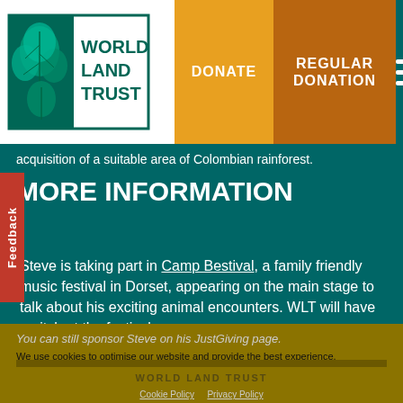[Figure (logo): World Land Trust logo with leaf/tree emblem and text WORLD LAND TRUST]
DONATE | REGULAR DONATION
acquisition of a suitable area of Colombian rainforest.
MORE INFORMATION
Steve is taking part in Camp Bestival, a family friendly music festival in Dorset, appearing on the main stage to talk about his exciting animal encounters. WLT will have a pitch at the festival.
You can still sponsor Steve on his JustGiving page.
We use cookies to optimise our website and provide the best experience.
Sponsor Steve
Accept
WORLD LAND TRUST
Cookie Policy   Privacy Policy